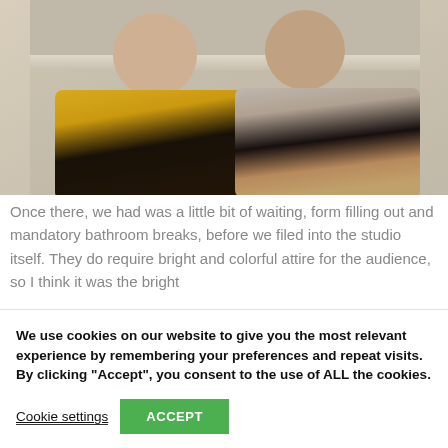[Figure (photo): Two women sitting together in what appears to be a studio or store. The woman on the left wears a bright yellow jacket, the woman on the right wears a light grey/beige sweater.]
Once there, we had was a little bit of waiting, form filling out and mandatory bathroom breaks, before we filed into the studio itself. They do require bright and colorful attire for the audience, so I think it was the bright
We use cookies on our website to give you the most relevant experience by remembering your preferences and repeat visits. By clicking “Accept”, you consent to the use of ALL the cookies.
Cookie settings
ACCEPT